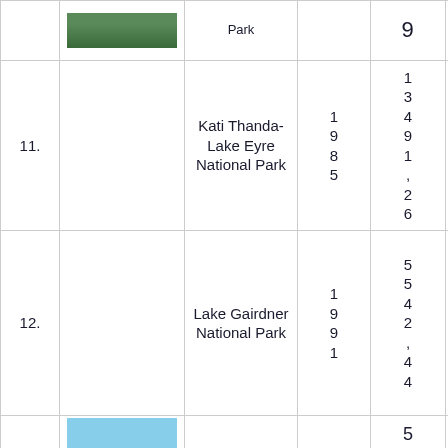| # | Image | Name | Year | Area (km²) | Coordinates |
| --- | --- | --- | --- | --- | --- |
|  | [image] | Park |  | 9 |  |
| 11. |  | Kati Thanda-Lake Eyre National Park | 1985 | 13491,26 | 28°22′13″S 137°22′51″E |
| 12. |  | Lake Gairdner National Park | 1991 | 5542,44 | 31°41′50″S 135°51′13″E |
| 1 | [image] | Lake Torre... | 1 | 5 6 6 |  |